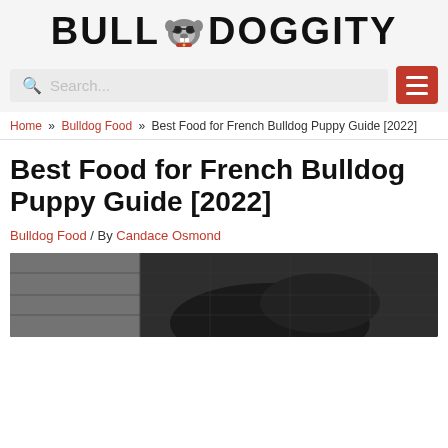[Figure (logo): Bull Doggity website logo with mascot bulldog/raccoon icon between BULL and DOGGITY text]
[Figure (screenshot): Search bar with magnifying glass icon and red hamburger menu button]
Home » Bulldog Food » Best Food for French Bulldog Puppy Guide [2022]
Best Food for French Bulldog Puppy Guide [2022]
Bulldog Food / By Candace Osmond
[Figure (photo): French bulldog puppy photo, partially visible at bottom of page]